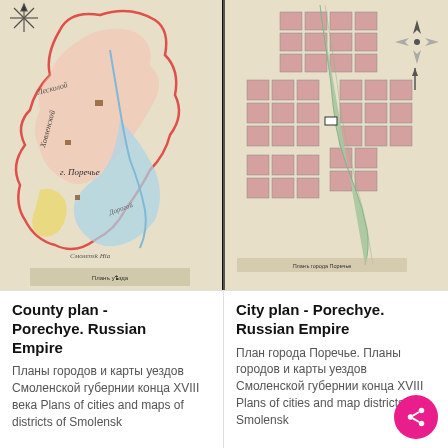[Figure (map): County plan - Porechye. Historical map of Russian Empire showing county boundaries with colored regions (pink border, yellow and blue areas), rivers, and handwritten Cyrillic labels. Compass rose in upper left.]
[Figure (map): City plan - Porechye. Historical grid-plan of a city in the Russian Empire showing city blocks in pink/red, a winding river (green/blue) running through the center, streets in white, and a compass star in the upper right.]
County plan - Porechye. Russian Empire
Планы городов и карты уездов Смоленской губернии конца XVIII века Plans of cities and maps of districts of Smolensk
City plan - Porechye. Russian Empire
План города Поречье. Планы городов и карты уездов Смоленской губернии конца XVIII Plans of cities and maps of districts of Smolensk